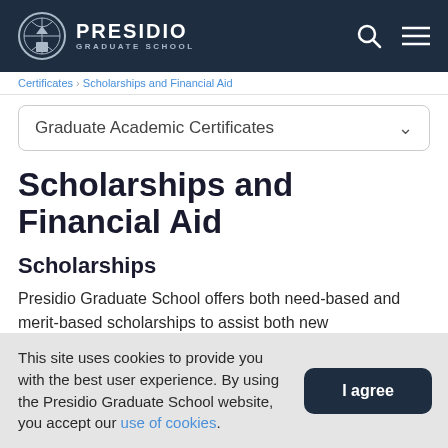PRESIDIO GRADUATE SCHOOL
Certificates > Scholarships and Financial Aid
Graduate Academic Certificates
Scholarships and Financial Aid
Scholarships
Presidio Graduate School offers both need-based and merit-based scholarships to assist both new
This site uses cookies to provide you with the best user experience. By using the Presidio Graduate School website, you accept our use of cookies.